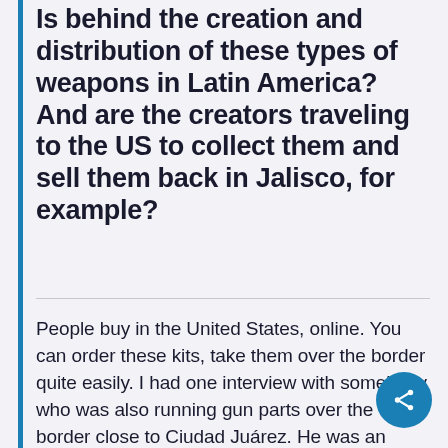Is behind the creation and distribution of these types of weapons in Latin America? And are the creators traveling to the US to collect them and sell them back in Jalisco, for example?
People buy in the United States, online. You can order these kits, take them over the border quite easily. I had one interview with somebody who was also running gun parts over the border close to Ciudad Juárez. He was an American who actually had, was laying cable on both sides of the border and had a